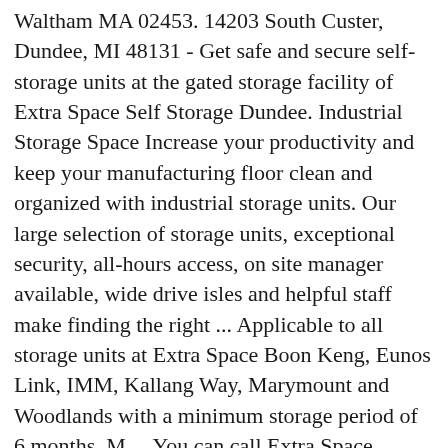Waltham MA 02453. 14203 South Custer, Dundee, MI 48131 - Get safe and secure self-storage units at the gated storage facility of Extra Space Self Storage Dundee. Industrial Storage Space Increase your productivity and keep your manufacturing floor clean and organized with industrial storage units. Our large selection of storage units, exceptional security, all-hours access, on site manager available, wide drive isles and helpful staff make finding the right ... Applicable to all storage units at Extra Space Boon Keng, Eunos Link, IMM, Kallang Way, Marymount and Woodlands with a minimum storage period of 6 months. M ... You can call Extra Space Storage at (888) 586-9658 toll free number, write an email, fill out a contact form on their website www.extraspace.com, or write a letter to Extra Space Storage Inc, 2795 East Cottonwood Parkway, Suite 400, Salt Lake City, Utah, 84121, United States. Extra Space Storage ist spezialisiert